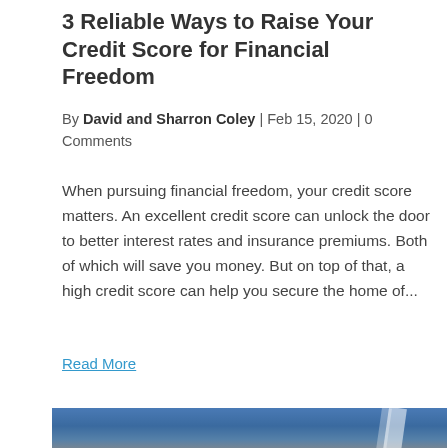3 Reliable Ways to Raise Your Credit Score for Financial Freedom
By David and Sharron Coley | Feb 15, 2020 | 0 Comments
When pursuing financial freedom, your credit score matters. An excellent credit score can unlock the door to better interest rates and insurance premiums. Both of which will save you money. But on top of that, a high credit score can help you secure the home of...
Read More
[Figure (photo): Partial photo showing a blue background with white diagonal lines or architectural elements, cropped at the bottom of the page.]